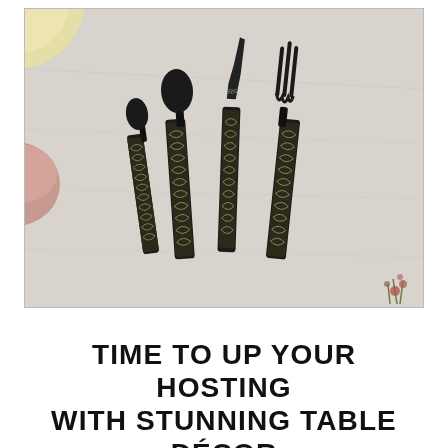[Figure (photo): Photograph of four black matte cutlery pieces (two spoons, one knife, one fork) with decorative patterned handles featuring a geometric/fan motif in gold/white. Items are laid on a light grey surface. A pink bowl is partially visible on the left, a gold-rimmed plate at the top-left corner, and small dried flowers at the bottom-right.]
TIME TO UP YOUR HOSTING WITH STUNNING TABLE DÉCOR